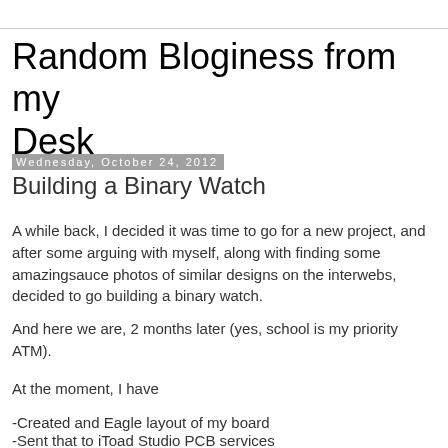Random Bloginess from my Desk
Wednesday, October 24, 2012
Building a Binary Watch
A while back, I decided it was time to go for a new project, and after some arguing with myself, along with finding some amazingsauce photos of similar designs on the interwebs, decided to go building a binary watch.
And here we are, 2 months later (yes, school is my priority ATM).
At the moment, I have
-Created and Eagle layout of my board
-Sent that to iToad Studio PCB services